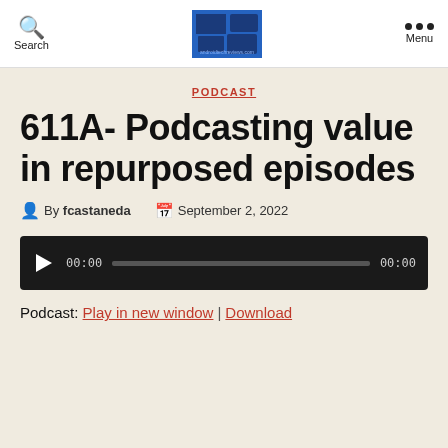Search | [logo] | Menu
PODCAST
611A- Podcasting value in repurposed episodes
By fcastaneda  September 2, 2022
[Figure (other): Audio player widget with play button, time display 00:00, progress bar, and end time 00:00]
Podcast: Play in new window | Download